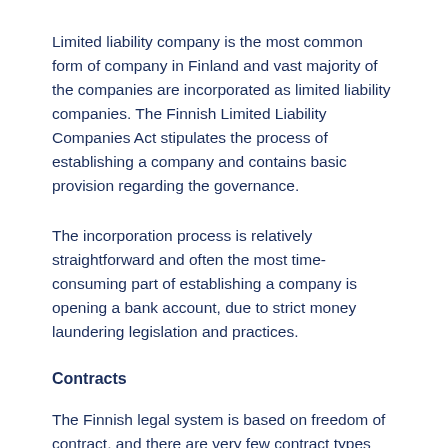Limited liability company is the most common form of company in Finland and vast majority of the companies are incorporated as limited liability companies. The Finnish Limited Liability Companies Act stipulates the process of establishing a company and contains basic provision regarding the governance.
The incorporation process is relatively straightforward and often the most time-consuming part of establishing a company is opening a bank account, due to strict money laundering legislation and practices.
Contracts
The Finnish legal system is based on freedom of contract, and there are very few contract types with